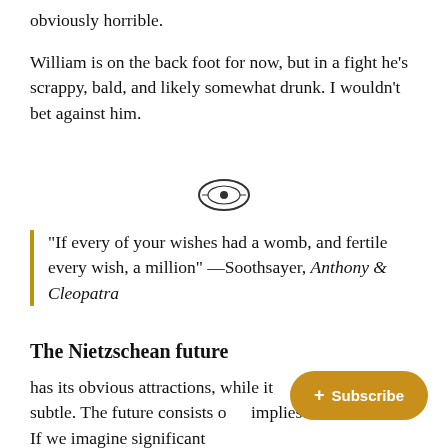obviously horrible.
William is on the back foot for now, but in a fight he’s scrappy, bald, and likely somewhat drunk. I wouldn’t bet against him.
[Figure (illustration): Small decorative oval emblem/printer's mark in black ink, centered on the page as a section divider.]
“If every of your wishes had a womb, and fertile every wish, a million” —Soothsayer, Anthony & Cleopatra
The Nietzschean future
has its obvious attractions, while its more subtle. The future consists of implies: Übermensch. If we imagine significant